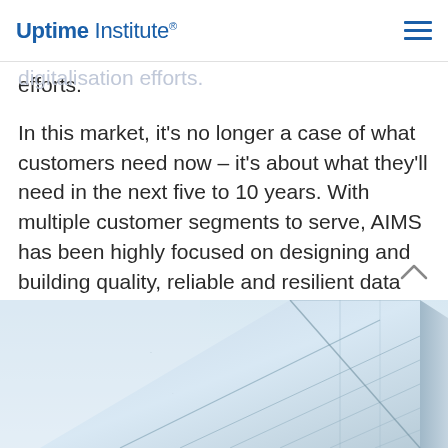Uptime Institute®
the hyperscale capacity to support the growth of enterprise-business to tax7 digitalisation efforts.
In this market, it's no longer a case of what customers need now – it's about what they'll need in the next five to 10 years. With multiple customer segments to serve, AIMS has been highly focused on designing and building quality, reliable and resilient data centres that can meet its clients' critical (and rapidly changing) business needs and requirements.
[Figure (photo): Architectural photograph of a modern glass and steel building corner, viewed from below against a pale sky, with geometric reflections on the facade.]